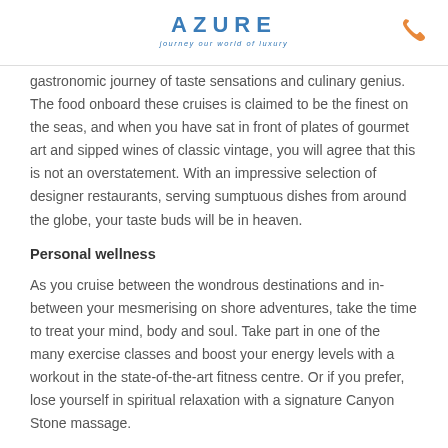AZURE journey our world of luxury
gastronomic journey of taste sensations and culinary genius. The food onboard these cruises is claimed to be the finest on the seas, and when you have sat in front of plates of gourmet art and sipped wines of classic vintage, you will agree that this is not an overstatement. With an impressive selection of designer restaurants, serving sumptuous dishes from around the globe, your taste buds will be in heaven.
Personal wellness
As you cruise between the wondrous destinations and in-between your mesmerising on shore adventures, take the time to treat your mind, body and soul. Take part in one of the many exercise classes and boost your energy levels with a workout in the state-of-the-art fitness centre. Or if you prefer, lose yourself in spiritual relaxation with a signature Canyon Stone massage.